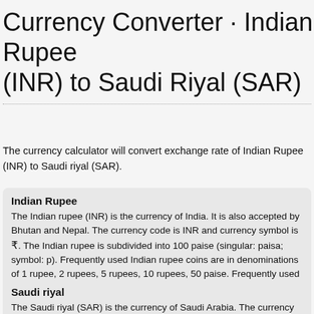Currency Converter · Indian Rupee (INR) to Saudi Riyal (SAR)
The currency calculator will convert exchange rate of Indian Rupee (INR) to Saudi riyal (SAR).
Indian Rupee
The Indian rupee (INR) is the currency of India. It is also accepted by Bhutan and Nepal. The currency code is INR and currency symbol is ₹. The Indian rupee is subdivided into 100 paise (singular: paisa; symbol: p). Frequently used Indian rupee coins are in denominations of 1 rupee, 2 rupees, 5 rupees, 10 rupees, 50 paise. Frequently used Indian rupee banknotes are in denominations of 5 rupees, 10 rupees, 20 rupees, 50 rupees, 100 rupees, 500 rupees, 1000 rupees.
Saudi riyal
The Saudi riyal (SAR) is the currency of Saudi Arabia. The currency code is SAR and currency symbol is SR QR or ﷼. The Saudi riyal is subdivided into 100 halalas (singular: halala). Frequently used Saudi